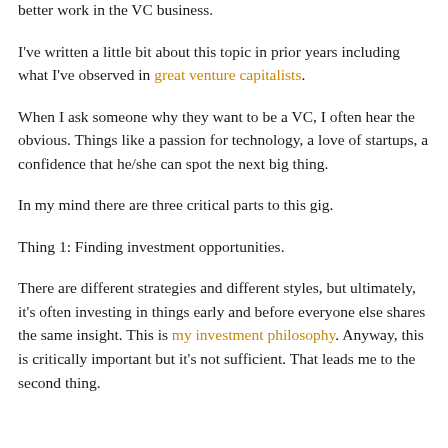better work in the VC business.
I've written a little bit about this topic in prior years including what I've observed in great venture capitalists.
When I ask someone why they want to be a VC, I often hear the obvious. Things like a passion for technology, a love of startups, a confidence that he/she can spot the next big thing.
In my mind there are three critical parts to this gig.
Thing 1: Finding investment opportunities.
There are different strategies and different styles, but ultimately, it's often investing in things early and before everyone else shares the same insight. This is my investment philosophy. Anyway, this is critically important but it's not sufficient. That leads me to the second thing.